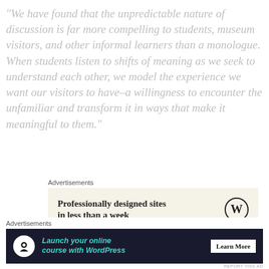“We have found that the unpredictable nature of discussion is far more compelling to students, museum visitors, and other informal learners than a monologue. When students listen to shifts of meaning as we seek to understand each other, we model the experience we want our visitors to have–a willingness to encounter the unfamiliar and transform it in ways that make it meaningful to them.”
Advertisements
[Figure (screenshot): Advertisement banner: cream background, text 'Professionally designed sites in less than a week', WordPress logo on right]
REPORT THIS AD
[Figure (screenshot): Website screenshot showing navigation bar with links: About, Contribute, NeuroscienceTravel, Create & Teach, All Videos, Blog, iTunes, RSS, and a search box]
Advertisements
[Figure (screenshot): Advertisement banner: dark background, icon, text 'Launch your online course with WordPress', Learn More button]
REPORT THIS AD